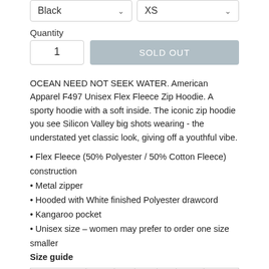Black (dropdown) / XS (dropdown)
Quantity
1 / SOLD OUT
OCEAN NEED NOT SEEK WATER. American Apparel F497 Unisex Flex Fleece Zip Hoodie. A sporty hoodie with a soft inside. The iconic zip hoodie you see Silicon Valley big shots wearing - the understated yet classic look, giving off a youthful vibe.
Flex Fleece (50% Polyester / 50% Cotton Fleece) construction
Metal zipper
Hooded with White finished Polyester drawcord
Kangaroo pocket
Unisex size – women may prefer to order one size smaller
Size guide
|  | XS | S | M | L | XL | 2XL |
| --- | --- | --- | --- | --- | --- | --- |